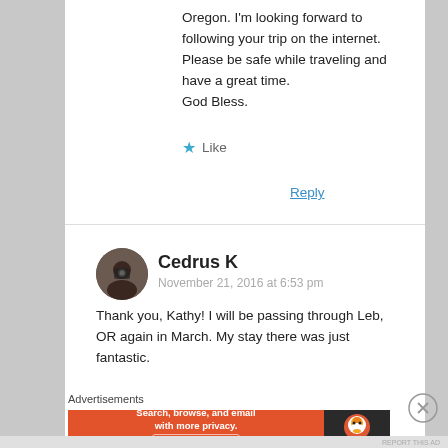Oregon. I'm looking forward to following your trip on the internet.
Please be safe while traveling and have a great time.
God Bless.
Like
Reply
Cedrus K
November 21, 2016 at 6:53 pm
Thank you, Kathy! I will be passing through Leb, OR again in March. My stay there was just fantastic.
Advertisements
[Figure (infographic): DuckDuckGo advertisement banner: orange background with text 'Search, browse, and email with more privacy. All in One Free App' and DuckDuckGo logo on dark right side]